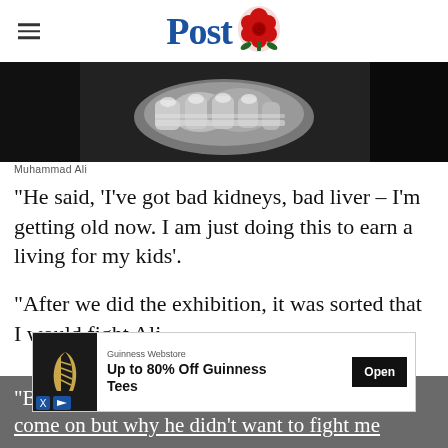Lancashire Post
[Figure (photo): Black and white close-up photo of bandaged boxing fists/hands]
Muhammad Ali
“He said, ‘I’ve got bad kidneys, bad liver – I’m getting old now. I am just doing this to earn a living for my kids’.
“After we did the exhibition, it was sorted that I would fight Ali.
“But t… ot come on but why he didn’t want to fight me